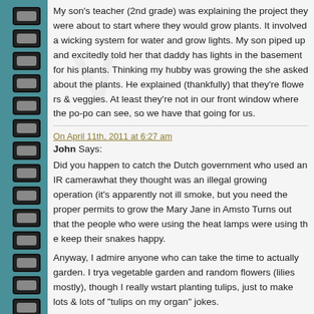My son's teacher (2nd grade) was explaining the project they were about to start where they would grow plants. It involved a wicking system for water and grow lights. My son piped up and excitedly told her that daddy has lights in the basement for his plants. Thinking my hubby was growing the she asked about the plants. He explained (thankfully) that they're flowers & veggies. At least they're not in our front window where the po-po can see, so we have that going for us.
On April 11th, 2011 at 6:27 am
John Says:
Did you happen to catch the Dutch government who used an IR camera on what they thought was an illegal growing operation (it's apparently not illegal to smoke, but you need the proper permits to grow the Mary Jane in Amsterdam). Turns out that the people who were using the heat lamps were using them to keep their snakes happy.
Anyway, I admire anyone who can take the time to actually garden. I try to do a vegetable garden and random flowers (lilies mostly), though I really want to start planting tulips, just to make lots & lots of "tulips on my organ" jokes.
On April 11th, 2011 at 4:48 pm